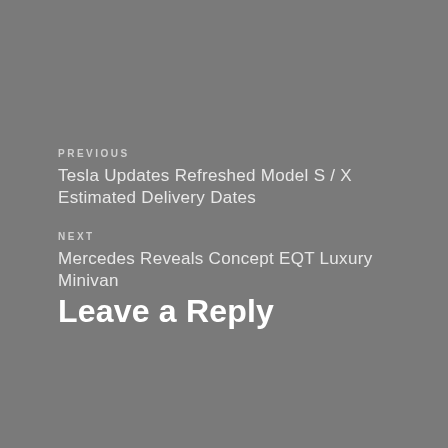PREVIOUS
Tesla Updates Refreshed Model S / X Estimated Delivery Dates
NEXT
Mercedes Reveals Concept EQT Luxury Minivan
Leave a Reply